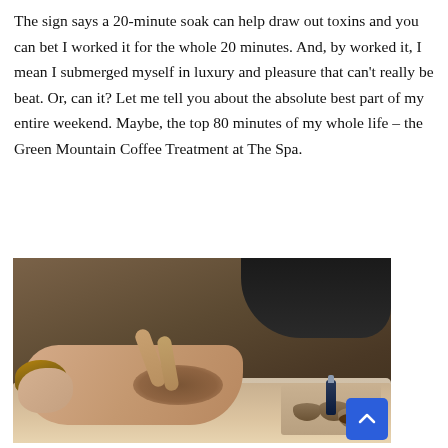The sign says a 20-minute soak can help draw out toxins and you can bet I worked it for the whole 20 minutes. And, by worked it, I mean I submerged myself in luxury and pleasure that can't really be beat. Or, can it? Let me tell you about the absolute best part of my entire weekend. Maybe, the top 80 minutes of my whole life – the Green Mountain Coffee Treatment at The Spa.
[Figure (photo): A woman lying face down on a massage table receiving a coffee scrub treatment on her back from a therapist. Bowls of coffee scrub and an oil bottle are visible on a tray next to the table.]